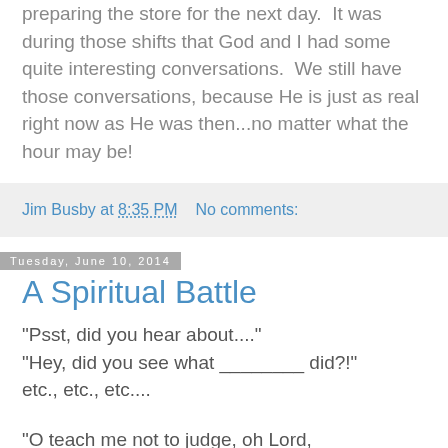preparing the store for the next day.  It was during those shifts that God and I had some quite interesting conversations.  We still have those conversations, because He is just as real right now as He was then...no matter what the hour may be!
Jim Busby at 8:35 PM   No comments:
Tuesday, June 10, 2014
A Spiritual Battle
"Psst, did you hear about...."
"Hey, did you see what ________ did?!"
etc., etc., etc....
"O teach me not to judge, oh Lord,
from rumors I have heard.
Show me not to be critical